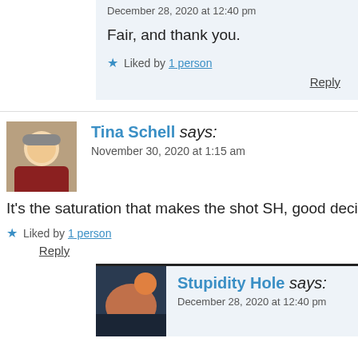December 28, 2020 at 12:40 pm
Fair, and thank you.
★ Liked by 1 person
Reply
Tina Schell says:
November 30, 2020 at 1:15 am
It's the saturation that makes the shot SH, good decisio…
★ Liked by 1 person
Reply
Stupidity Hole says:
December 28, 2020 at 12:40 pm